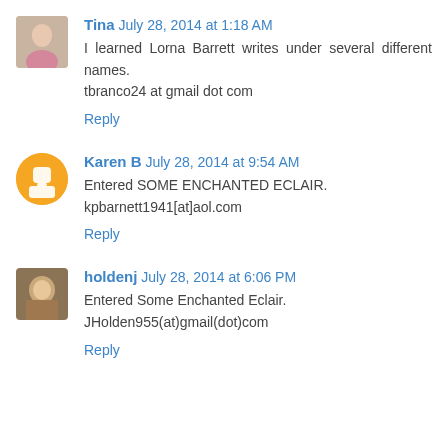Tina July 28, 2014 at 1:18 AM
I learned Lorna Barrett writes under several different names.
tbranco24 at gmail dot com
Reply
Karen B July 28, 2014 at 9:54 AM
Entered SOME ENCHANTED ECLAIR.
kpbarnett1941[at]aol.com
Reply
holdenj July 28, 2014 at 6:06 PM
Entered Some Enchanted Eclair.
JHolden955(at)gmail(dot)com
Reply